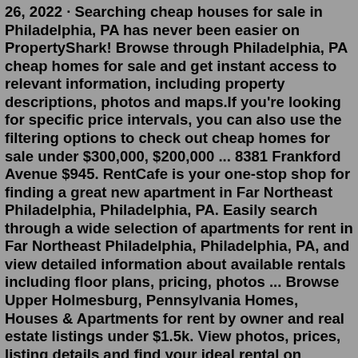26, 2022 · Searching cheap houses for sale in Philadelphia, PA has never been easier on PropertyShark! Browse through Philadelphia, PA cheap homes for sale and get instant access to relevant information, including property descriptions, photos and maps.If you're looking for specific price intervals, you can also use the filtering options to check out cheap homes for sale under $300,000, $200,000 ... 8381 Frankford Avenue $945. RentCafe is your one-stop shop for finding a great new apartment in Far Northeast Philadelphia, Philadelphia, PA. Easily search through a wide selection of apartments for rent in Far Northeast Philadelphia, Philadelphia, PA, and view detailed information about available rentals including floor plans, pricing, photos ... Browse Upper Holmesburg, Pennsylvania Homes, Houses & Apartments for rent by owner and real estate listings under $1.5k. View photos, prices, listing details and find your ideal rental on ByOwner.2421 N Mascher St #306, Philadelphia, PA 19133 $1,575/mo 1 bd 1 ba 671 sqft - House for rent 13 days ago 6520